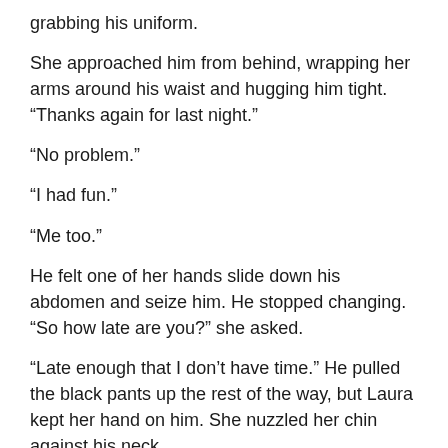grabbing his uniform.
She approached him from behind, wrapping her arms around his waist and hugging him tight. “Thanks again for last night.”
“No problem.”
“I had fun.”
“Me too.”
He felt one of her hands slide down his abdomen and seize him. He stopped changing. “So how late are you?” she asked.
“Late enough that I don’t have time.” He pulled the black pants up the rest of the way, but Laura kept her hand on him. She nuzzled her chin against his neck.
“Not even for a quickie?”